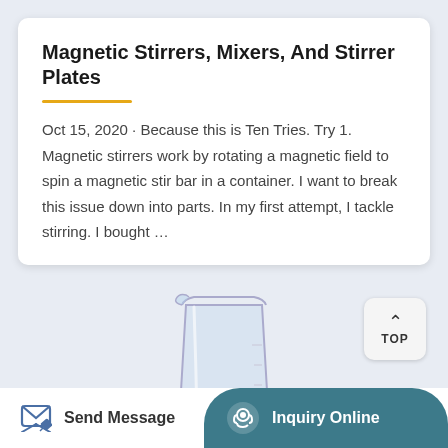Magnetic Stirrers, Mixers, And Stirrer Plates
Oct 15, 2020 · Because this is Ten Tries. Try 1. Magnetic stirrers work by rotating a magnetic field to spin a magnetic stir bar in a container. I want to break this issue down into parts. In my first attempt, I tackle stirring. I bought …
[Figure (photo): A glass laboratory beaker sitting on a dark magnetic stirrer plate base, photographed against a light blue-grey background.]
Send Message
Inquiry Online